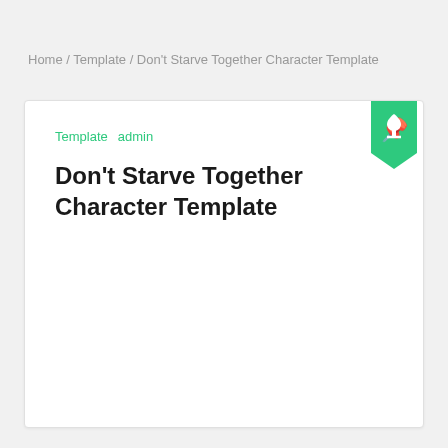Home / Template / Don't Starve Together Character Template
Template   admin
Don't Starve Together Character Template